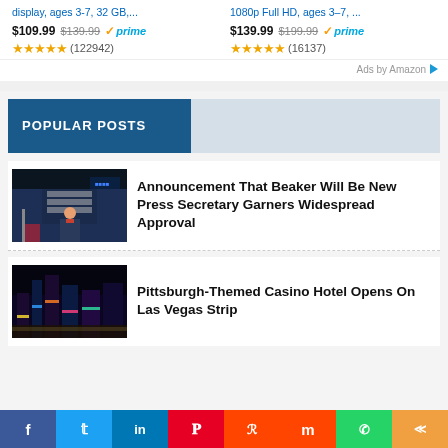display, ages 3-7, 32 GB,... $109.99 $139.99 prime (122942)
1080p Full HD, ages 3–7, ... $139.99 $199.99 prime (16137)
Ads by Amazon
POPULAR POSTS
[Figure (photo): Photo of a press briefing room with podium and American flag, person at podium]
Announcement That Beaker Will Be New Press Secretary Garners Widespread Approval
[Figure (photo): Nighttime photo of the Las Vegas Strip with casino hotels and lights]
Pittsburgh-Themed Casino Hotel Opens On Las Vegas Strip